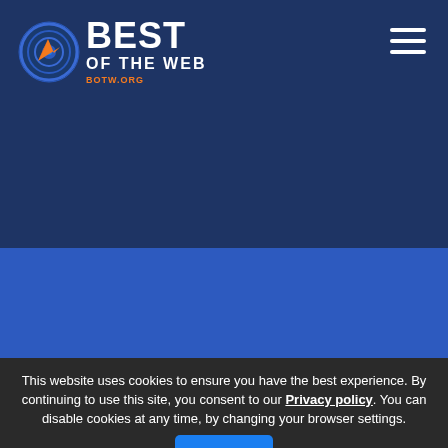[Figure (logo): Best of the Web (BOTW.ORG) logo with circular target icon and white bold text]
This website uses cookies to ensure you have the best experience. By continuing to use this site, you consent to our Privacy policy. You can disable cookies at any time, by changing your browser settings.
Close